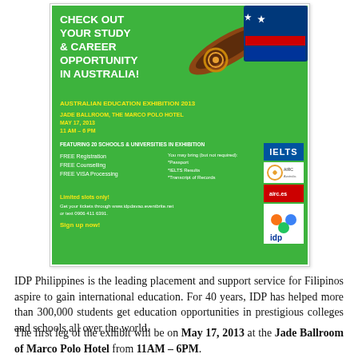[Figure (infographic): Australian Education Exhibition 2013 advertisement. Green background with boomerang/Australian flag decoration. Bold white text: CHECK OUT YOUR STUDY & CAREER OPPORTUNITY IN AUSTRALIA! Yellow text: AUSTRALIAN EDUCATION EXHIBITION 2013, JADE BALLROOM, THE MARCO POLO HOTEL, MAY 17, 2013, 11 AM – 6 PM. Lists FREE Registration, FREE Counselling, FREE VISA Processing. Note about bringing Passport, IELTS Results, Transcript of Records. IELTS, AIRC, and IDP logos on right. Yellow text: Limited slots only! Sign up now!]
IDP Philippines is the leading placement and support service for Filipinos aspire to gain international education. For 40 years, IDP has helped more than 300,000 students get education opportunities in prestigious colleges and schools all over the world.
The first leg of the exhibit will be on May 17, 2013 at the Jade Ballroom of Marco Polo Hotel from 11AM – 6PM.